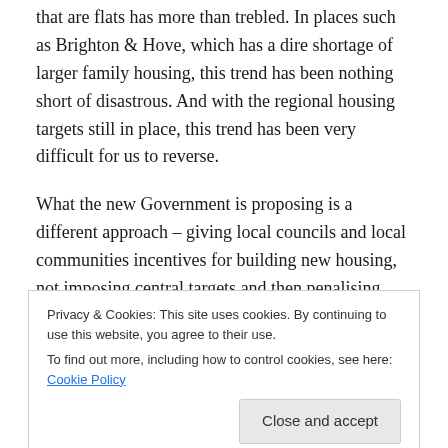that are flats has more than trebled. In places such as Brighton & Hove, which has a dire shortage of larger family housing, this trend has been nothing short of disastrous. And with the regional housing targets still in place, this trend has been very difficult for us to reverse.
What the new Government is proposing is a different approach – giving local councils and local communities incentives for building new housing, not imposing central targets and then penalising them for not meeting them. How often have you heard people say that they would be
Privacy & Cookies: This site uses cookies. By continuing to use this website, you agree to their use. To find out more, including how to control cookies, see here: Cookie Policy
communities directly affected, should help to achieve that.